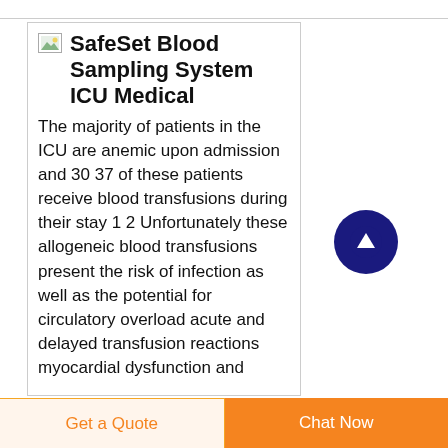SafeSet Blood Sampling System ICU Medical
The majority of patients in the ICU are anemic upon admission and 30 37 of these patients receive blood transfusions during their stay 1 2 Unfortunately these allogeneic blood transfusions present the risk of infection as well as the potential for circulatory overload acute and delayed transfusion reactions myocardial dysfunction and
Get a Quote  Chat Now